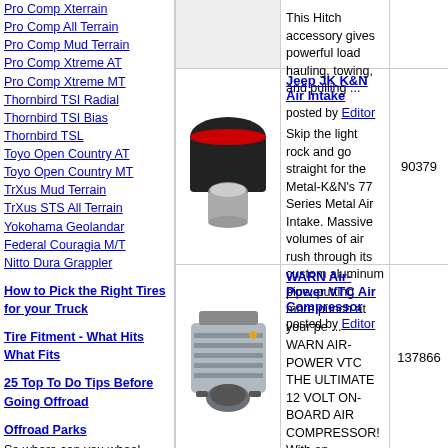Pro Comp Xterrain
Pro Comp All Terrain
Pro Comp Mud Terrain
Pro Comp Xtreme AT
Pro Comp Xtreme MT
Thornbird TSI Radial
Thornbird TSI Bias
Thornbird TSL
Toyo Open Country AT
Toyo Open Country MT
TrXus Mud Terrain
TrXus STS All Terrain
Yokohama Geolandar
Federal Couragia M/T
Nitto Dura Grappler
How to Pick the Right Tires for your Truck
Tire Fitment - What Hits What Fits
25 Top To Do Tips Before Going Offroad
Offroad Parks
So where can you wheel legally?  Here's some locations we know about.
This Hitch accessory gives powerful load hauling, towing, and pulling ...
[Figure (photo): K&N 77 Series Metal Air Intake product photo]
Jeep JK K&N Air Intake posted by Editor Skip the light rock and go straight for the Metal-K&N's 77 Series Metal Air Intake. Massive volumes of air rush through its custom aluminum pipe, putting more punch at your pe ...
90379
[Figure (photo): WARN Air-Power VTC Air Compressor product photo]
WARN Air-Power VTC Air Compressor posted by Editor WARN AIR-POWER VTC THE ULTIMATE 12 VOLT ON-BOARD AIR COMPRESSOR! With an
137866